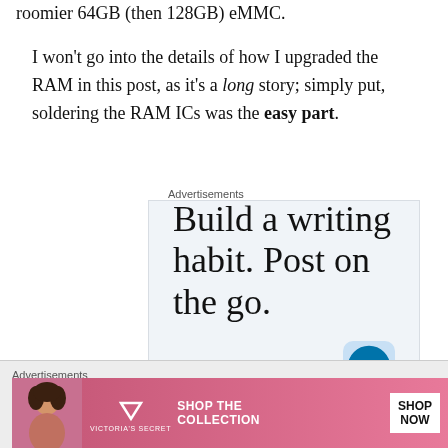roomier 64GB (then 128GB) eMMC.
I won't go into the details of how I upgraded the RAM in this post, as it's a long story; simply put, soldering the RAM ICs was the easy part.
Advertisements
[Figure (infographic): WordPress app advertisement: 'Build a writing habit. Post on the go.' with GET THE APP call to action and WordPress logo]
Advertisements
[Figure (infographic): Victoria's Secret advertisement: SHOP THE COLLECTION / SHOP NOW banner with model photo and VS logo]